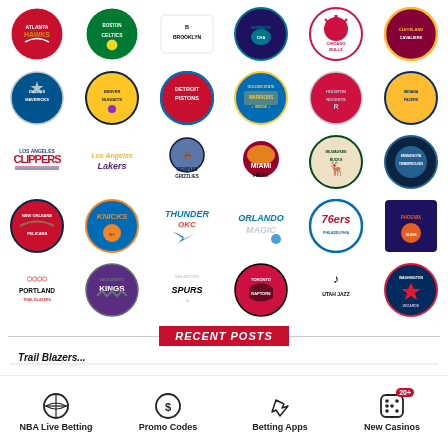[Figure (logo): Grid of 30 NBA team logos: Atlanta Hawks, Boston Celtics, Brooklyn Nets, Charlotte Hornets, Chicago Bulls, Cleveland Cavaliers, Dallas Mavericks, Denver Nuggets, Detroit Pistons, Golden State Warriors, Houston Rockets, Indiana Pacers, LA Clippers, Los Angeles Lakers, Memphis Grizzlies, Miami Heat, Milwaukee Bucks, Minnesota Timberwolves, New Orleans Pelicans, New York Knicks, Oklahoma City Thunder, Orlando Magic, Philadelphia 76ers, Phoenix Suns, Portland Trail Blazers, Sacramento Kings, San Antonio Spurs, Toronto Raptors, Utah Jazz, Washington Wizards]
RECENT POSTS
Trail Blazers...
[Figure (infographic): Bottom navigation bar with four icons: NBA Live Betting (basketball icon), Promo Codes (dollar circle icon), Betting Apps (rocket icon), New Casinos (dice icon with 20+ badge)]
NBA Live Betting | Promo Codes | Betting Apps | New Casinos